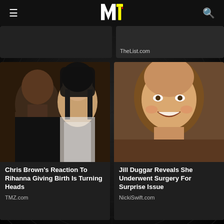MTV
TheList.com
[Figure (photo): Chris Brown and Rihanna side by side portrait photo]
Chris Brown's Reaction To Rihanna Giving Birth Is Turning Heads
TMZ.com
[Figure (photo): Jill Duggar smiling portrait photo]
Jill Duggar Reveals She Underwent Surgery For Surprise Issue
NickiSwift.com